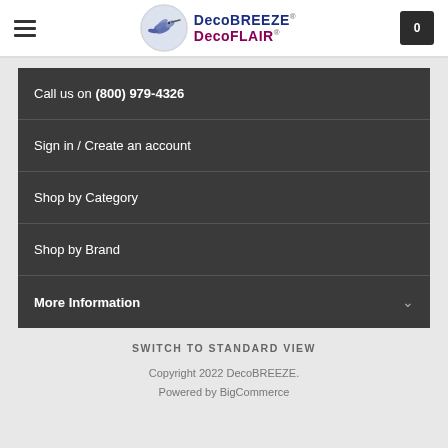[Figure (logo): DecoBREEZE DecoFLAIR logo with hummingbird in a circle]
Call us on (800) 979-4326
Sign in / Create an account
Shop by Category
Shop by Brand
More Information
SWITCH TO STANDARD VIEW
Copyright 2022 DecoBREEZE.
Powered by BigCommerce